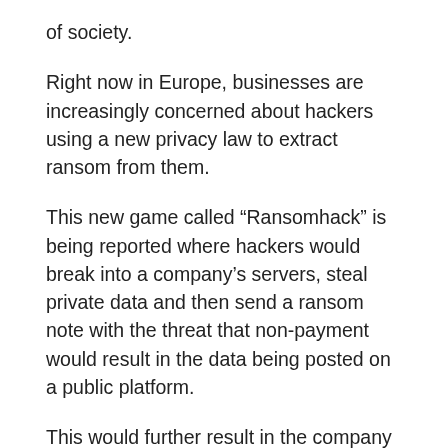of society.
Right now in Europe, businesses are increasingly concerned about hackers using a new privacy law to extract ransom from them.
This new game called “Ransomhack” is being reported where hackers would break into a company’s servers, steal private data and then send a ransom note with the threat that non-payment would result in the data being posted on a public platform.
This would further result in the company being hauled up under General Data Protection Regulation (or GDPR), the European Union’s new